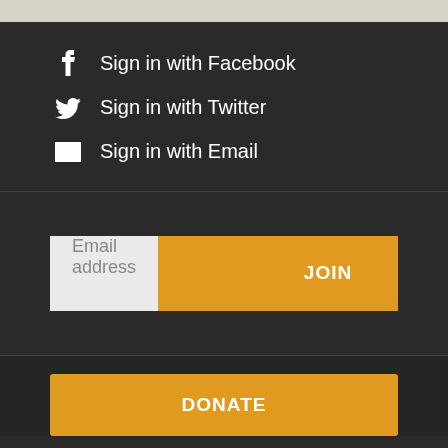Sign in with Facebook
Sign in with Twitter
Sign in with Email
Email address
JOIN
DONATE